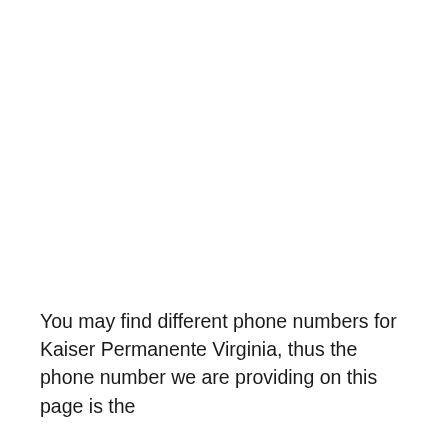You may find different phone numbers for Kaiser Permanente Virginia, thus the phone number we are providing on this page is the